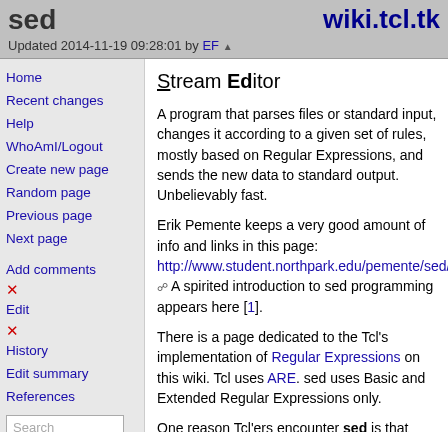sed   wiki.tcl.tk
Updated 2014-11-19 09:28:01 by EF
Home
Recent changes
Help
WhoAmI/Logout
Create new page
Random page
Previous page
Next page
Add comments
Edit
History
Edit summary
References
Stream Editor
A program that parses files or standard input, changes it according to a given set of rules, mostly based on Regular Expressions, and sends the new data to standard output. Unbelievably fast.
Erik Pemente keeps a very good amount of info and links in this page: http://www.student.northpark.edu/pemente/sed/ A spirited introduction to sed programming appears here [1].
There is a page dedicated to the Tcl's implementation of Regular Expressions on this wiki. Tcl uses ARE. sed uses Basic and Extended Regular Expressions only.
One reason Tcl'ers encounter sed is that autoconf and autoconf-generated build scripts makes heavy use of sed to mangle text.